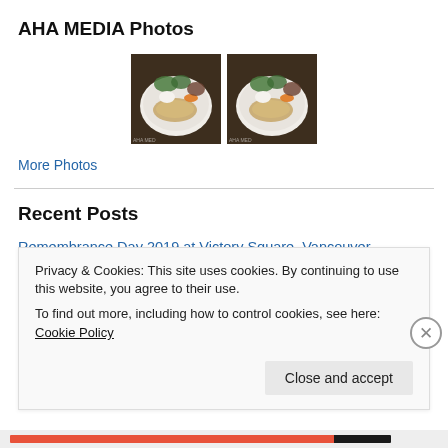AHA MEDIA Photos
[Figure (photo): Two thumbnail photos of a food plate with fish, vegetables, and garnish on a white plate]
More Photos
Recent Posts
Remembrance Day 2019 at Victory Square, Vancouver
In Loving Memory of Helen of Karaoke Shenanigans
Privacy & Cookies: This site uses cookies. By continuing to use this website, you agree to their use.
To find out more, including how to control cookies, see here: Cookie Policy
Close and accept